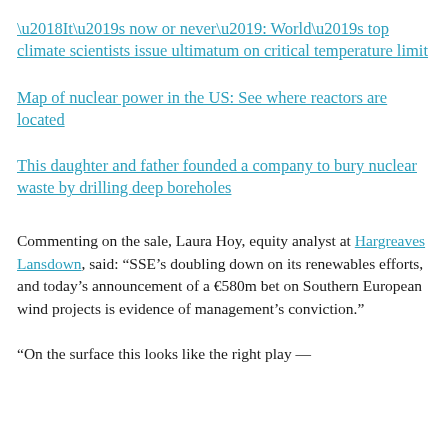'It’s now or never’: World’s top climate scientists issue ultimatum on critical temperature limit
Map of nuclear power in the US: See where reactors are located
This daughter and father founded a company to bury nuclear waste by drilling deep boreholes
Commenting on the sale, Laura Hoy, equity analyst at Hargreaves Lansdown, said: “SSE’s doubling down on its renewables efforts, and today’s announcement of a €580m bet on Southern European wind projects is evidence of management’s conviction.”
“On the surface this looks like the right play —